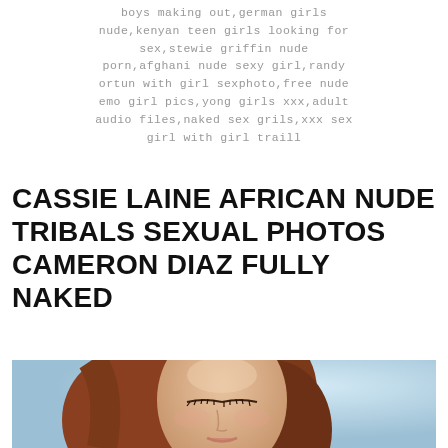boys making out,german girls nude,kenyan teen girls looking for sex,stewie griffin nude porn,afghani nude sexy girl,randy ortun with girl sexphoto,free nude emo girl pics,yong girls xxx,adult audio files,naked sex grils,xxx sex girl with girl traill
CASSIE LAINE AFRICAN NUDE TRIBALS SEXUAL PHOTOS CAMERON DIAZ FULLY NAKED
[Figure (photo): Close-up photo of a young woman with long reddish-brown hair, eyes closed, light blue background]